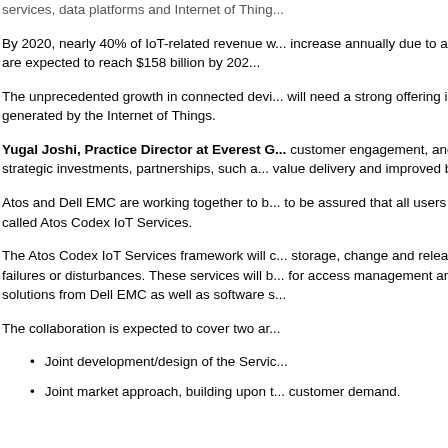services, data platforms and Internet of Thing...
By 2020, nearly 40% of IoT-related revenue w... increase annually due to an increasing need t... and are expected to reach $158 billion by 202...
The unprecedented growth in connected devi... will need a strong offering in end-to-end servi... generated by the Internet of Things.
Yugal Joshi, Practice Director at Everest G... customer engagement, and business transfo... by strategic investments, partnerships, such a... value delivery and improved business outcom...
Atos and Dell EMC are working together to b... to be assured that all users can continuously ... called Atos Codex IoT Services.
The Atos Codex IoT Services framework will ... storage, change and release control, incident... failures or disturbances. These services will b... for access management and data encryption.... solutions from Dell EMC as well as software s...
The collaboration is expected to cover two ar...
Joint development/design of the Servic...
Joint market approach, building upon t... customer demand.